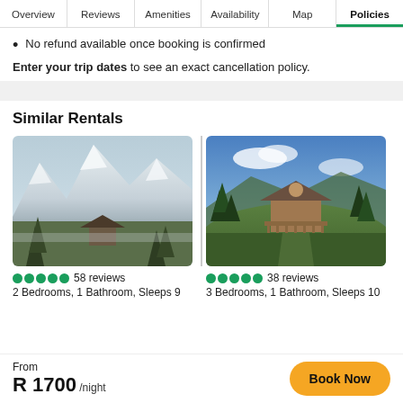Overview | Reviews | Amenities | Availability | Map | Policies
No refund available once booking is confirmed
Enter your trip dates to see an exact cancellation policy.
Similar Rentals
[Figure (photo): Mountain chalet with snow-capped peaks in background, trees in foreground]
[Figure (photo): Wooden cabin on a grassy hilltop surrounded by pine trees under blue sky]
58 reviews
2 Bedrooms, 1 Bathroom, Sleeps 9
38 reviews
3 Bedrooms, 1 Bathroom, Sleeps 10
From
R 1700 /night
Book Now